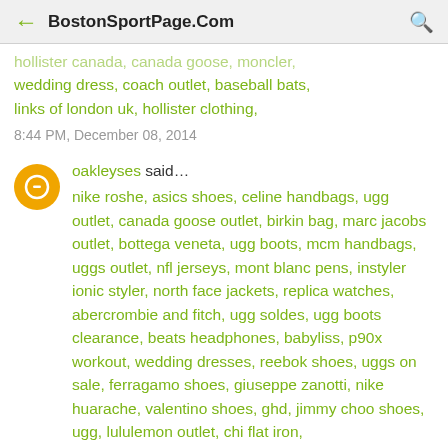BostonSportPage.Com
hollister canada, canada goose, moncler, wedding dress, coach outlet, baseball bats, links of london uk, hollister clothing, louboutin, pandora charms, ugg
8:44 PM, December 08, 2014
oakleyses said...
nike roshe, asics shoes, celine handbags, ugg outlet, canada goose outlet, birkin bag, marc jacobs outlet, bottega veneta, ugg boots, mcm handbags, uggs outlet, nfl jerseys, mont blanc pens, instyler ionic styler, north face jackets, replica watches, abercrombie and fitch, ugg soldes, ugg boots clearance, beats headphones, babyliss, p90x workout, wedding dresses, reebok shoes, uggs on sale, ferragamo shoes, giuseppe zanotti, nike huarache, valentino shoes, ghd, jimmy choo shoes, ugg, lululemon outlet, chi flat iron, north face jackets, hervo leger, hollister